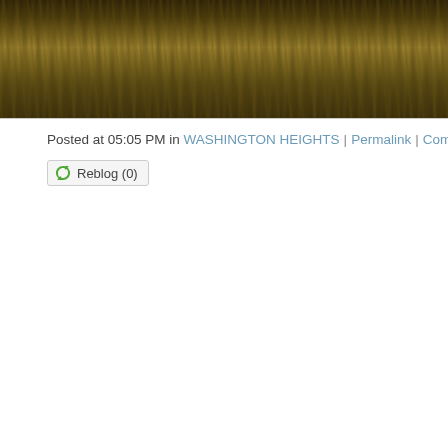[Figure (photo): Cropped top portion of a photo showing dense trees or tall grasses in dark golden-brown autumn tones, appearing to be a forest or field scene.]
Posted at 05:05 PM in WASHINGTON HEIGHTS | Permalink | Comments (0) |
Reblog (0)